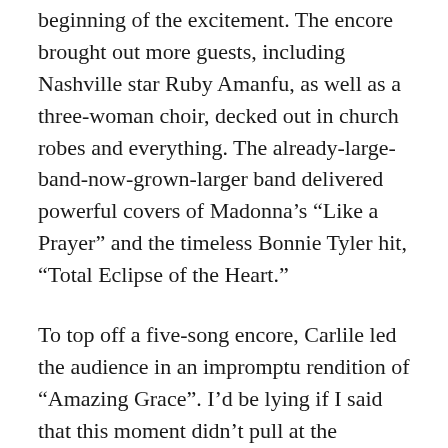beginning of the excitement. The encore brought out more guests, including Nashville star Ruby Amanfu, as well as a three-woman choir, decked out in church robes and everything. The already-large-band-now-grown-larger band delivered powerful covers of Madonna’s “Like a Prayer” and the timeless Bonnie Tyler hit, “Total Eclipse of the Heart.”
To top off a five-song encore, Carlile led the audience in an impromptu rendition of “Amazing Grace”. I’d be lying if I said that this moment didn’t pull at the heartstrings. Not only was it Carlile’s attempt to preserve the end of what truly must have been a historic week, but a reminder that music serves as a